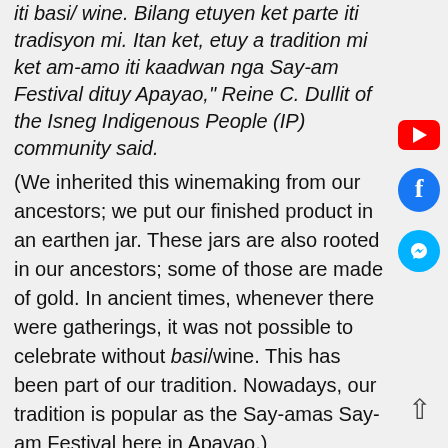iti basi/wine. Bilang etuyen ket parte iti tradisyon mi. Itan ket, etuy a tradition mi ket am-amo iti kaadwan nga Say-am Festival dituy Apayao," Reine C. Dullit of the Isneg Indigenous People (IP) community said.
(We inherited this winemaking from our ancestors; we put our finished product in an earthen jar. These jars are also rooted in our ancestors; some of those are made of gold. In ancient times, whenever there were gatherings, it was not possible to celebrate without basi/wine. This has been part of our tradition. Nowadays, our tradition is popular as the Say-amas Say-am Festival here in Apayao.)
Dan M. Sagli, Municipal Agricultural Technician, said wine in the highland town is called basi, derived from sugarcane and fermented using a